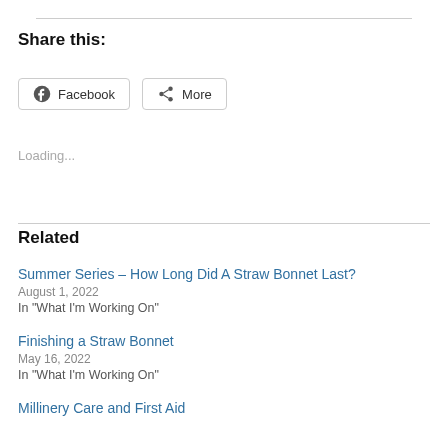Share this:
Facebook  More
Loading...
Related
Summer Series – How Long Did A Straw Bonnet Last?
August 1, 2022
In "What I'm Working On"
Finishing a Straw Bonnet
May 16, 2022
In "What I'm Working On"
Millinery Care and First Aid